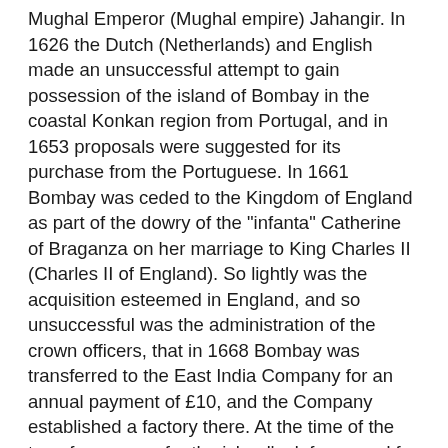Mughal Emperor (Mughal empire) Jahangir. In 1626 the Dutch (Netherlands) and English made an unsuccessful attempt to gain possession of the island of Bombay in the coastal Konkan region from Portugal, and in 1653 proposals were suggested for its purchase from the Portuguese. In 1661 Bombay was ceded to the Kingdom of England as part of the dowry of the "infanta" Catherine of Braganza on her marriage to King Charles II (Charles II of England). So lightly was the acquisition esteemed in England, and so unsuccessful was the administration of the crown officers, that in 1668 Bombay was transferred to the East India Company for an annual payment of £10, and the Company established a factory there. At the time of the transfer, powers for the island's defence and for the administration of justice were also conferred on the Company; a European regiment i.e. a regiment made up of European soldiers was enrolled; and the fortifications erected proved sufficient to deter the Dutch from their intended attack in 1673. As British trade in Bombay increased, Surat (which had been sacked by Shivaji in 1670) began its relative decline. In 1687 Bombay was placed at the head of all the Company's possessions in India. However, in 1753 the governor of Bombay became subordinate to that of Calcutta. The largest annual cultural event in the park is Portugal Day (Portugal Day